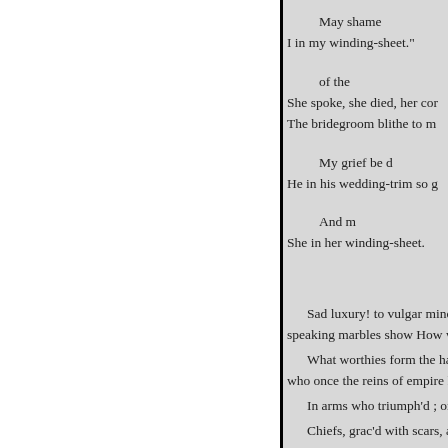May shame
I in my winding-sheet."

of the
She spoke, she died, her cor
The bridegroom blithe to m

My grief be d
He in his wedding-trim so g

And m
She in her winding-sheet.

Sad luxury! to vulgar minds u
speaking marbles show How we
What worthies form the hallo
who once the reins of empire hel
In arms who triumph'd ; or in
Chiefs, grac'd with scars, and
Stern patriots, who for sacred
impartial laws were given; He sh